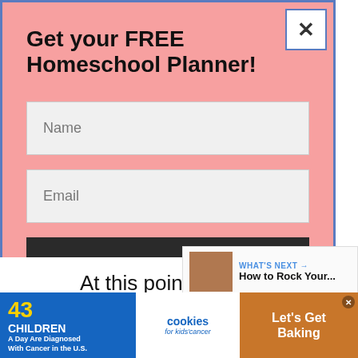Get your FREE Homeschool Planner!
Name
Email
Sign Up
At this point, hopefully, you ha purchased all or most of your must-
WHAT'S NEXT → How to Rock Your...
[Figure (screenshot): 43 CHILDREN A Day Are Diagnosed With Cancer in the U.S. cookies for kids' cancer Let's Get Baking advertisement banner]
443